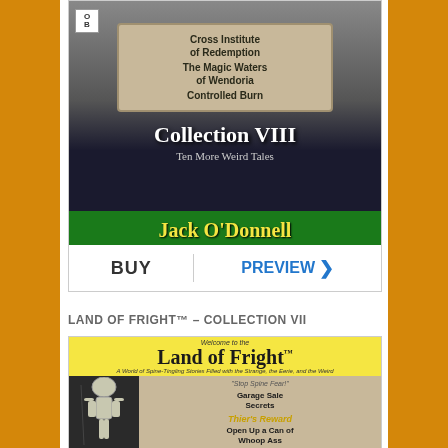[Figure (illustration): Book cover for Collection VIII by Jack O'Donnell - Ten More Weird Tales, with skeleton imagery and green author banner]
BUY   PREVIEW >
LAND OF FRIGHT™ – COLLECTION VII
[Figure (illustration): Book cover for Land of Fright Collection VII by Jack O'Donnell, showing skeleton and stone tablet with story titles: Garage Sale Secrets, Thier's Reward, Open Up a Can of Whoop Ass, Staring Contest, Penny For]